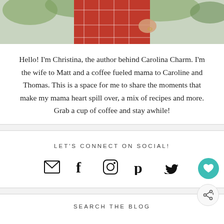[Figure (photo): Partial photo of a person wearing a red plaid/grid-pattern top, shown from the torso area with greenery in the background]
Hello! I'm Christina, the author behind Carolina Charm. I'm the wife to Matt and a coffee fueled mama to Caroline and Thomas. This is a space for me to share the moments that make my mama heart spill over, a mix of recipes and more. Grab a cup of coffee and stay awhile!
LET'S CONNECT ON SOCIAL!
[Figure (infographic): Row of five social media icons: email envelope, Facebook f, Instagram camera, Pinterest p, Twitter bird]
SEARCH THE BLOG